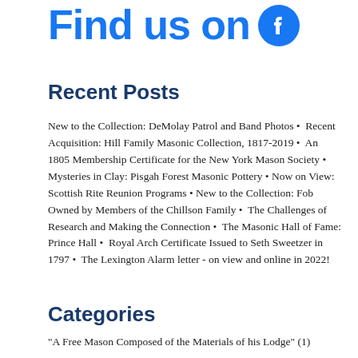[Figure (logo): Facebook logo partial view - blue text 'Find us on' with Facebook circular logo icon in blue]
Recent Posts
New to the Collection: DeMolay Patrol and Band Photos • Recent Acquisition: Hill Family Masonic Collection, 1817-2019 • An 1805 Membership Certificate for the New York Mason Society • Mysteries in Clay: Pisgah Forest Masonic Pottery • Now on View: Scottish Rite Reunion Programs • New to the Collection: Fob Owned by Members of the Chillson Family • The Challenges of Research and Making the Connection • The Masonic Hall of Fame: Prince Hall • Royal Arch Certificate Issued to Seth Sweetzer in 1797 • The Lexington Alarm letter - on view and online in 2022!
Categories
"A Free Mason Composed of the Materials of his Lodge" (1)